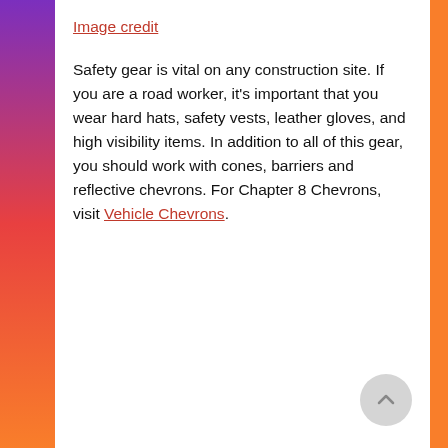Image credit
Safety gear is vital on any construction site. If you are a road worker, it's important that you wear hard hats, safety vests, leather gloves, and high visibility items. In addition to all of this gear, you should work with cones, barriers and reflective chevrons. For Chapter 8 Chevrons, visit Vehicle Chevrons.